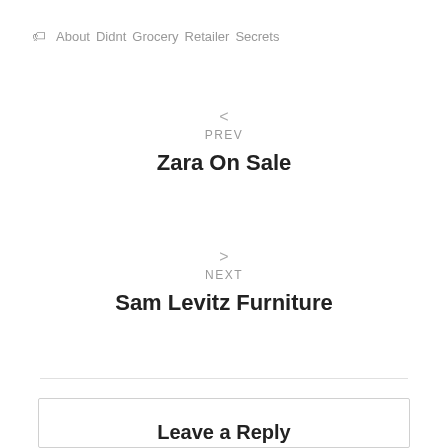🏷 About  Didnt  Grocery  Retailer  Secrets
< PREV Zara On Sale
> NEXT Sam Levitz Furniture
Leave a Reply
You must be logged in to post a